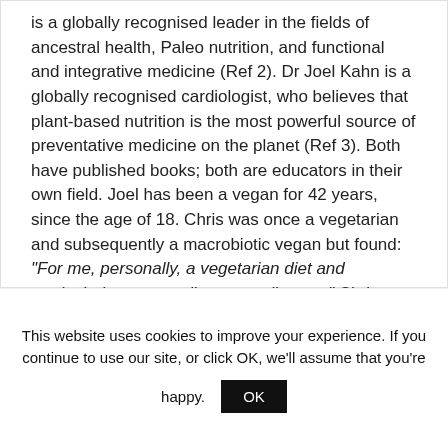is a globally recognised leader in the fields of ancestral health, Paleo nutrition, and functional and integrative medicine (Ref 2). Dr Joel Kahn is a globally recognised cardiologist, who believes that plant-based nutrition is the most powerful source of preventative medicine on the planet (Ref 3). Both have published books; both are educators in their own field. Joel has been a vegan for 42 years, since the age of 18. Chris was once a vegetarian and subsequently a macrobiotic vegan but found: "For me, personally, a vegetarian diet and particularly a vegan diet was a disaster." Chris now does what he does because of his own
This website uses cookies to improve your experience. If you continue to use our site, or click OK, we'll assume that you're happy.